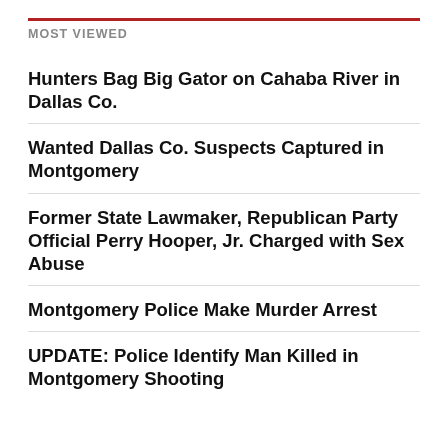MOST VIEWED
Hunters Bag Big Gator on Cahaba River in Dallas Co.
Wanted Dallas Co. Suspects Captured in Montgomery
Former State Lawmaker, Republican Party Official Perry Hooper, Jr. Charged with Sex Abuse
Montgomery Police Make Murder Arrest
UPDATE: Police Identify Man Killed in Montgomery Shooting